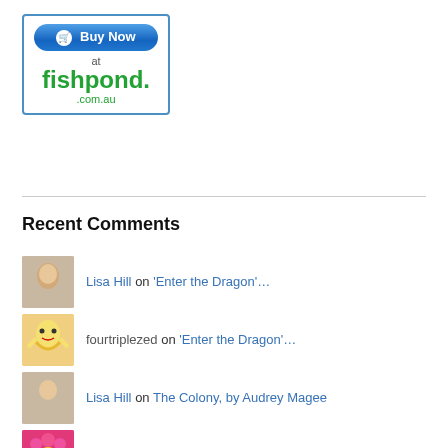[Figure (logo): Buy Now at fishpond.com.au button/logo in a bordered box]
Recent Comments
Lisa Hill on 'Enter the Dragon'…
fourtriplezed on 'Enter the Dragon'…
Lisa Hill on The Colony, by Audrey Magee
whisperinggums on The Colony, by Audrey Magee
Lisa Hill on The Colony, by Audrey Magee
Lisa Hill on 2022 Readings Prize for New Au…